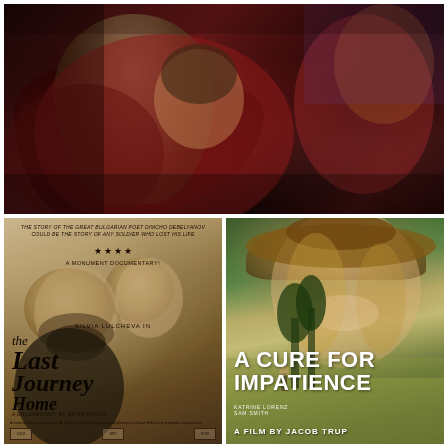[Figure (photo): A monk in a dark red robe bends forward, appearing to be writing or reading. Colorful imagery visible in the background. Dark, moody tones.]
[Figure (photo): Movie poster for 'The Last Journey Home' - a documentary. Black and white sepia-toned poster featuring two faces (man with beard and a woman). Text reads: 'The story of the great Bulgarian poet Dimcho Debelyanov could be the story of any soldier who lost his life'. Stars rating shown. 'A Monument Documentary!'. 'Silvia Lulcheva in'. Title in cursive italic font. 'A Documentary by Natam Halevi'. Various credits and logos at bottom.]
[Figure (photo): Movie poster for 'A Cure for Impatience' directed by Jacob Trup. Features a smiling woman wearing a wide-brimmed hat in foreground, with a figure standing in a golden field with tall trees in background. Color photography with green and gold tones. Cast: Katrine Lorenz, Sam Smith. Text: 'A Film by Jacob Trup'.]